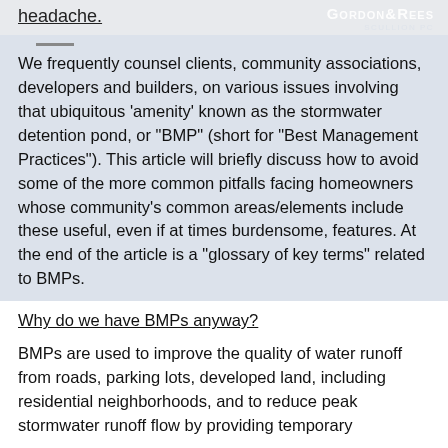headache.
GORDON&REES
We frequently counsel clients, community associations, developers and builders, on various issues involving that ubiquitous ‘amenity’ known as the stormwater detention pond, or “BMP” (short for “Best Management Practices”). This article will briefly discuss how to avoid some of the more common pitfalls facing homeowners whose community’s common areas/elements include these useful, even if at times burdensome, features. At the end of the article is a “glossary of key terms” related to BMPs.
Why do we have BMPs anyway?
BMPs are used to improve the quality of water runoff from roads, parking lots, developed land, including residential neighborhoods, and to reduce peak stormwater runoff flow by providing temporary